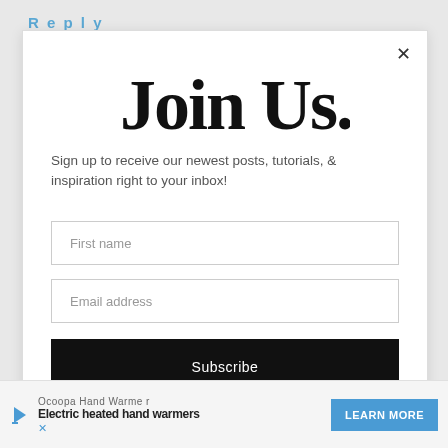Reply
[Figure (illustration): Handwritten-style script text reading 'Join Us.' in black ink on white background]
Sign up to receive our newest posts, tutorials, & inspiration right to your inbox!
First name
Email address
Subscribe
Ocoopa Hand Warmer
Electric heated hand warmers
LEARN MORE